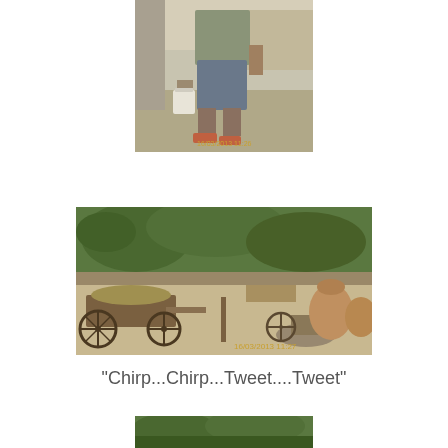[Figure (photo): Partial photo of a man in shorts and sandals carrying a white bucket, standing on a stone/concrete area, with timestamp 16/03/2013 11:26]
[Figure (photo): Outdoor rural scene with a wooden bullock cart, large clay pots, trees in background, sandy ground, with timestamp 16/03/2013 11:27]
"Chirp...Chirp...Tweet....Tweet"
[Figure (photo): Partial green/nature scene at bottom of page, cut off]